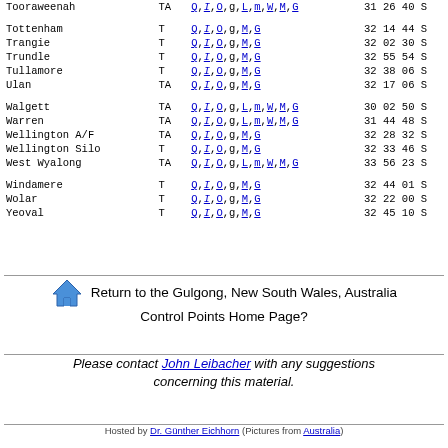| Place | Type | Links | Coords |
| --- | --- | --- | --- |
| Tooraweenah | TA | Q, I, O, g, L, m, W, M, G | 31 26 40 S |
| Tottenham | T | Q, I, O, g, M, G | 32 14 44 S |
| Trangie | T | Q, I, O, g, M, G | 32 02 30 S |
| Trundle | T | Q, I, O, g, M, G | 32 55 54 S |
| Tullamore | T | Q, I, O, g, M, G | 32 38 06 S |
| Ulan | TA | Q, I, O, g, M, G | 32 17 06 S |
| Walgett | TA | Q, I, O, g, L, m, W, M, G | 30 02 50 S |
| Warren | TA | Q, I, O, g, L, m, W, M, G | 31 44 48 S |
| Wellington A/F | TA | Q, I, O, g, M, G | 32 28 32 S |
| Wellington Silo | T | Q, I, O, g, M, G | 32 33 46 S |
| West Wyalong | TA | Q, I, O, g, L, m, W, M, G | 33 56 23 S |
| Windamere | T | Q, I, O, g, M, G | 32 44 01 S |
| Wolar | T | Q, I, O, g, M, G | 32 22 00 S |
| Yeoval | T | Q, I, O, g, M, G | 32 45 10 S |
Return to the Gulgong, New South Wales, Australia Control Points Home Page?
Please contact John Leibacher with any suggestions concerning this material.
Hosted by Dr. Günther Eichhorn (Pictures from Australia)